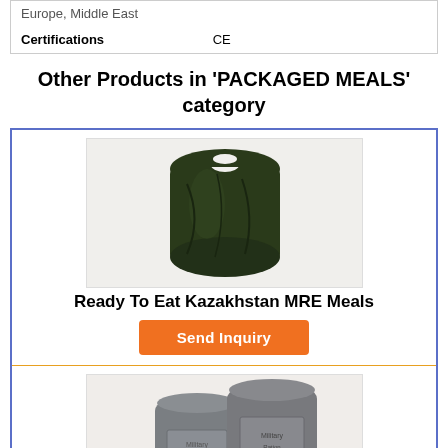| Certifications | CE |
Other Products in 'PACKAGED MEALS' category
[Figure (photo): Dark green military ration pouch / MRE bag for Kazakhstan MRE Meals]
Ready To Eat Kazakhstan MRE Meals
Send Inquiry
[Figure (photo): Two grey military ration pouches for Lithuanian Military Ration Army Food-mre]
Lithuanian Military Ration- Army Food-mre